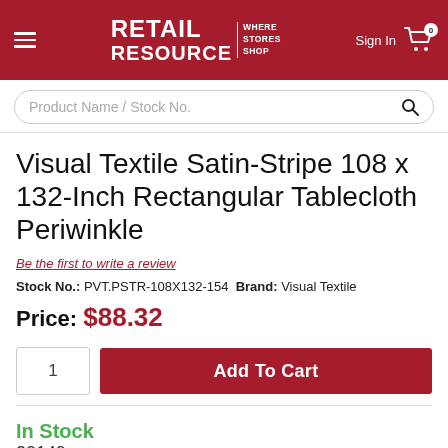RETAIL RESOURCE | WHERE STORES SHOP
Visual Textile Satin-Stripe 108 x 132-Inch Rectangular Tablecloth Periwinkle
Be the first to write a review
Stock No.: PVT.PSTR-108X132-154 Brand: Visual Textile
Price: $88.32
1   Add To Cart
In Stock
20149